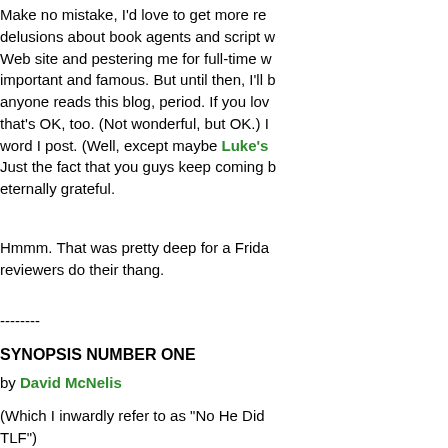Make no mistake, I'd love to get more readers. I have delusions about book agents and script writers checking my Web site and pestering me for full-time work until I become important and famous. But until then, I'll be happy if anyone reads this blog, period. If you love it, great. If not, that's OK, too. (Not wonderful, but OK.) I read every word I post. (Well, except maybe Luke's...) Just the fact that you guys keep coming back makes me eternally grateful.
Hmmm. That was pretty deep for a Friday. Let the reviewers do their thang.
--------
SYNOPSIS NUMBER ONE
by David McNelis
(Which I inwardly refer to as "No He Did... TLF")
David was stupid
and he slept with two best friends
Consequences felt